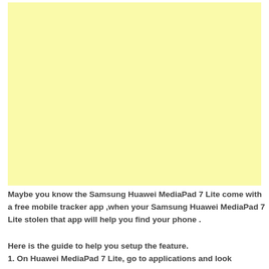[Figure (other): Large pale yellow rectangular advertisement block]
Maybe you know the Samsung Huawei MediaPad 7 Lite come with a free mobile tracker app ,when your Samsung Huawei MediaPad 7 Lite stolen that app will help you find your phone .
Here is the guide to help you setup the feature.
1. On Huawei MediaPad 7 Lite, go to applications and look